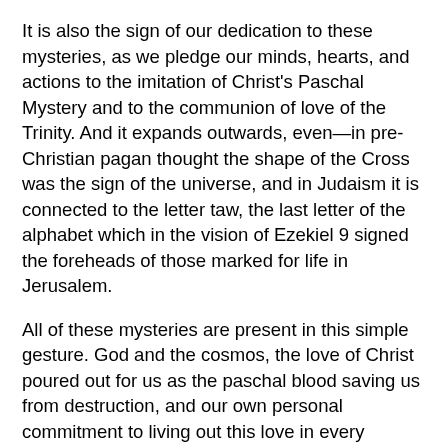It is also the sign of our dedication to these mysteries, as we pledge our minds, hearts, and actions to the imitation of Christ's Paschal Mystery and to the communion of love of the Trinity. And it expands outwards, even—in pre-Christian pagan thought the shape of the Cross was the sign of the universe, and in Judaism it is connected to the letter taw, the last letter of the alphabet which in the vision of Ezekiel 9 signed the foreheads of those marked for life in Jerusalem.
All of these mysteries are present in this simple gesture. God and the cosmos, the love of Christ poured out for us as the paschal blood saving us from destruction, and our own personal commitment to living out this love in every dimension of our humanity.
And this is the real source of any actual 'happy hour' in our lives, don't you think? The idea that we can just make our lives joyful and pleasant by a sheer act of will is a bit sketchy, to say the least. But to place our lives in the larger life of God, made available to us in Jesus Christ and his saving love—this is where true happiness comes from, the life of the beatitudes.